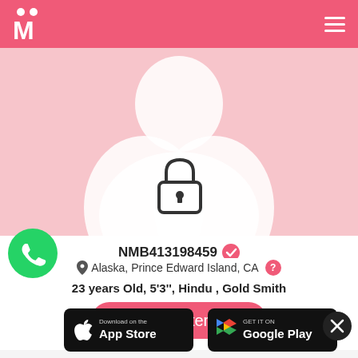[Figure (logo): Matrimony app logo - white M with two figures on pink background]
[Figure (photo): Blurred/silhouette profile photo with pink background and lock icon overlay]
NMB413198459 ✓
Alaska, Prince Edward Island, CA ?
23 years Old, 5'3'', Hindu , Gold Smith
[Figure (other): Register button - pink rounded rectangle]
[Figure (logo): WhatsApp green logo]
[Figure (logo): Download on the App Store button]
[Figure (logo): Get it on Google Play button]